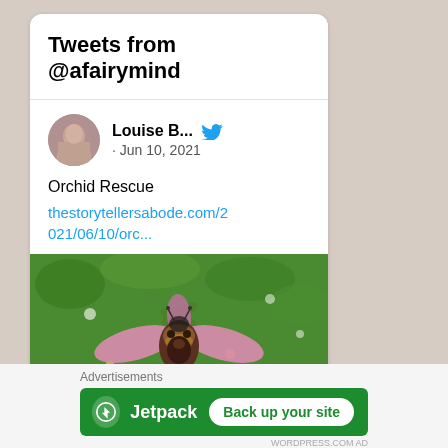Tweets from @afairymind
Louise B... · Jun 10, 2021
Orchid Rescue
thestorytellersabode.com/2021/06/10/orc...
[Figure (photo): Close-up photo of a bee orchid (Ophrys apifera) with pink petals and bee-like marking on a green background]
thestorytellersabode.com
Advertisements
[Figure (infographic): Jetpack advertisement banner: green background with Jetpack logo and 'Back up your site' button]